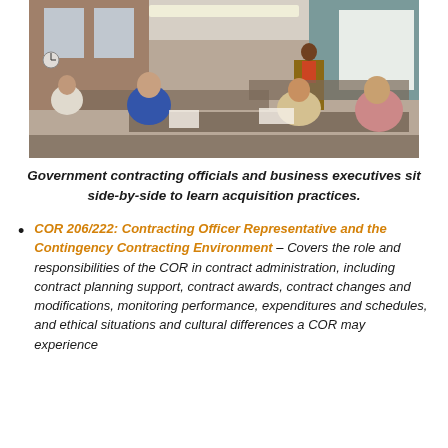[Figure (photo): Classroom setting with government contracting officials and business executives sitting side-by-side at tables, with a presenter standing at a podium near a whiteboard. Brick walls visible in background.]
Government contracting officials and business executives sit side-by-side to learn acquisition practices.
COR 206/222: Contracting Officer Representative and the Contingency Contracting Environment – Covers the role and responsibilities of the COR in contract administration, including contract planning support, contract awards, contract changes and modifications, monitoring performance, expenditures and schedules, and ethical situations and cultural differences a COR may experience